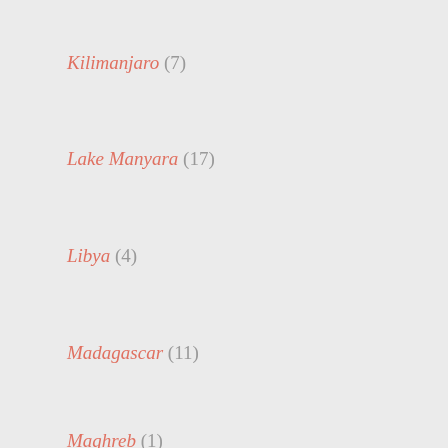Kilimanjaro (7)
Lake Manyara (17)
Libya (4)
Madagascar (11)
Maghreb (1)
Malaria (15)
Mali (16)
Mara (38)
Mathews Mountains (2)
Mauritius (7)
Morocco (5)